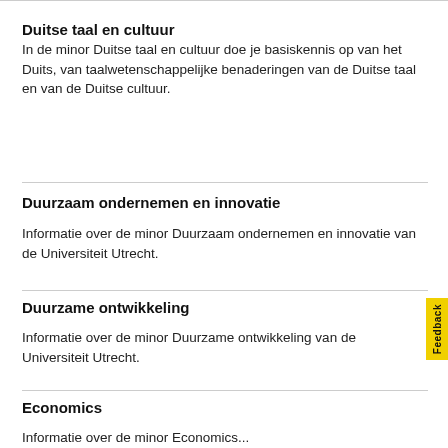Duitse taal en cultuur
In de minor Duitse taal en cultuur doe je basiskennis op van het Duits, van taalwetenschappelijke benaderingen van de Duitse taal en van de Duitse cultuur.
Duurzaam ondernemen en innovatie
Informatie over de minor Duurzaam ondernemen en innovatie van de Universiteit Utrecht.
Duurzame ontwikkeling
Informatie over de minor Duurzame ontwikkeling van de Universiteit Utrecht.
Economics
Informatie over de minor Economics...